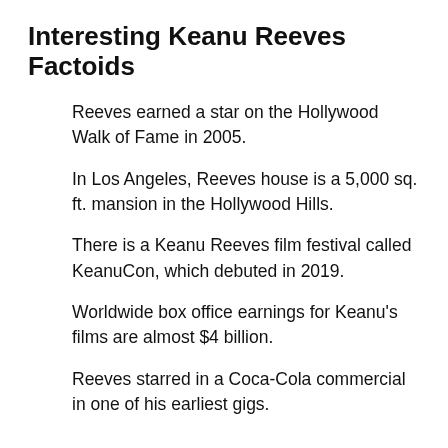Interesting Keanu Reeves Factoids
Reeves earned a star on the Hollywood Walk of Fame in 2005.
In Los Angeles, Reeves house is a 5,000 sq. ft. mansion in the Hollywood Hills.
There is a Keanu Reeves film festival called KeanuCon, which debuted in 2019.
Worldwide box office earnings for Keanu's films are almost $4 billion.
Reeves starred in a Coca-Cola commercial in one of his earliest gigs.